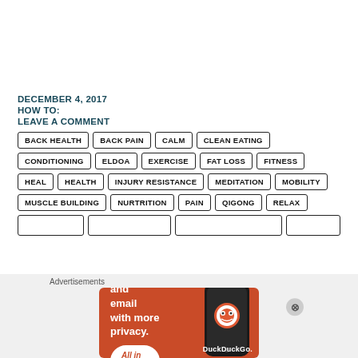DECEMBER 4, 2017
HOW TO:
LEAVE A COMMENT
BACK HEALTH
BACK PAIN
CALM
CLEAN EATING
CONDITIONING
ELDOA
EXERCISE
FAT LOSS
FITNESS
HEAL
HEALTH
INJURY RESISTANCE
MEDITATION
MOBILITY
MUSCLE BUILDING
NURTRITION
PAIN
QIGONG
RELAX
[Figure (screenshot): DuckDuckGo advertisement banner showing 'Search, browse, and email with more privacy. All in One Free App' with a phone image and DuckDuckGo logo]